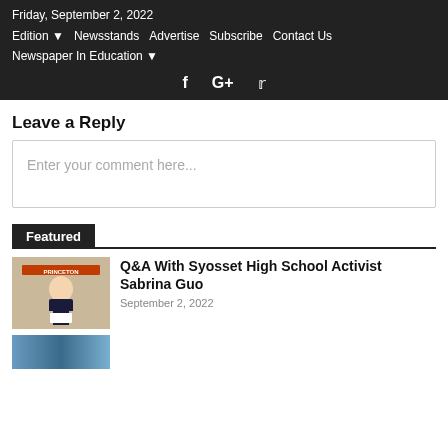Friday, September 2, 2022
Edition  Newsstands  Advertise  Subscribe  Contact Us
Newspaper In Education
Leave a Reply
Enter your comment here...
Featured
[Figure (photo): Photo of a young woman standing in front of a banner reading PRINCETON, holding a certificate]
Q&A With Syosset High School Activist Sabrina Guo
September 2, 2022
[Figure (photo): Partial thumbnail of a second article image at the bottom of the page]